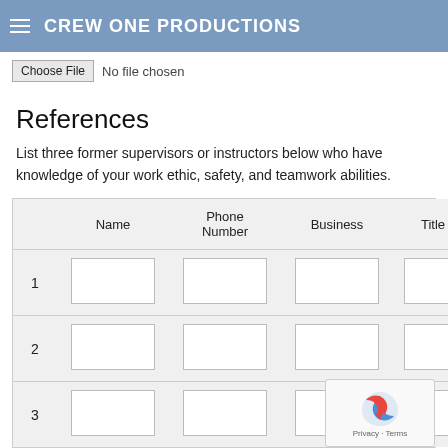CREW ONE PRODUCTIONS
Choose File  No file chosen
References
List three former supervisors or instructors below who have knowledge of your work ethic, safety, and teamwork abilities.
|  | Name | Phone Number | Business | Title |
| --- | --- | --- | --- | --- |
| 1 |  |  |  |  |
| 2 |  |  |  |  |
| 3 |  |  |  |  |